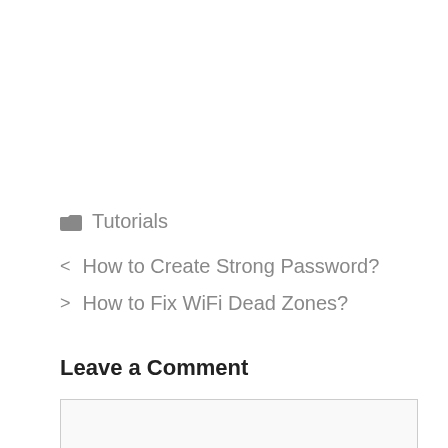Tutorials
< How to Create Strong Password?
> How to Fix WiFi Dead Zones?
Leave a Comment